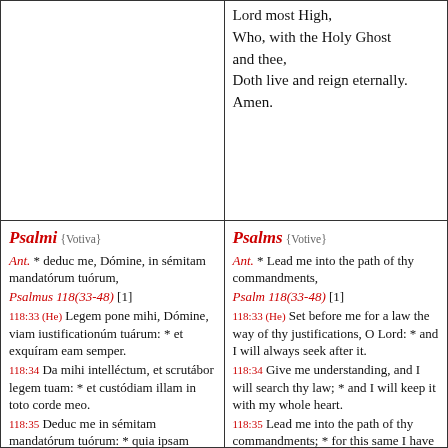(empty top-left cell)
Lord most High,
Who, with the Holy Ghost and thee,
Doth live and reign eternally.
Amen.
Psalmi {Votiva}
Ant. * deduc me, Dómine, in sémitam mandatórum tuórum,
Psalmus 118(33-48) [1]
118:33 (He) Legem pone mihi, Dómine, viam iustificationúm tuárum: * et exquíram eam semper.
118:34 Da mihi intelléctum, et scrutábor legem tuam: * et custódiam illam in toto corde meo.
118:35 Deduc me in sémitam mandatórum tuórum: * quia ipsam vólui.
118:36 Inclína cor meum in testimónia tua: * et non in avarítiam.
Psalms {Votive}
Ant. * Lead me into the path of thy commandments,
Psalm 118(33-48) [1]
118:33 (He) Set before me for a law the way of thy justifications, O Lord: * and I will always seek after it.
118:34 Give me understanding, and I will search thy law; * and I will keep it with my whole heart.
118:35 Lead me into the path of thy commandments; * for this same I have desired.
118:36 Incline my heart into thy testimonies * and not to covetousness.